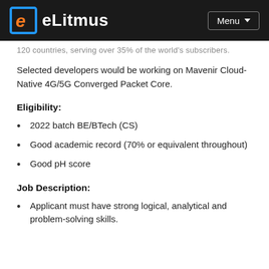eLitmus | Menu
120 countries, serving over 35% of the world's subscribers.
Selected developers would be working on Mavenir Cloud-Native 4G/5G Converged Packet Core.
Eligibility:
2022 batch BE/BTech (CS)
Good academic record (70% or equivalent throughout)
Good pH score
Job Description:
Applicant must have strong logical, analytical and problem-solving skills.